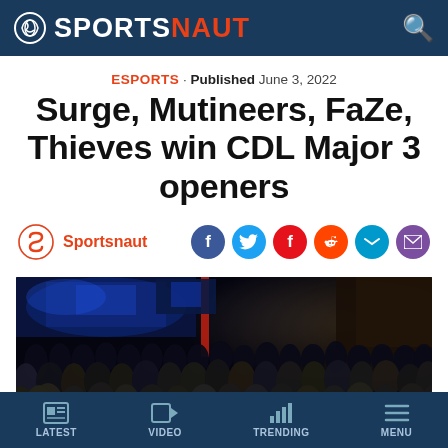SPORTSNAUT
ESPORTS · Published June 3, 2022
Surge, Mutineers, FaZe, Thieves win CDL Major 3 openers
Sportsnaut
[Figure (photo): Large crowd of esports fans watching a CDL event in a dark arena with blue and red stage lighting in the background]
LATEST   VIDEO   TRENDING   MENU